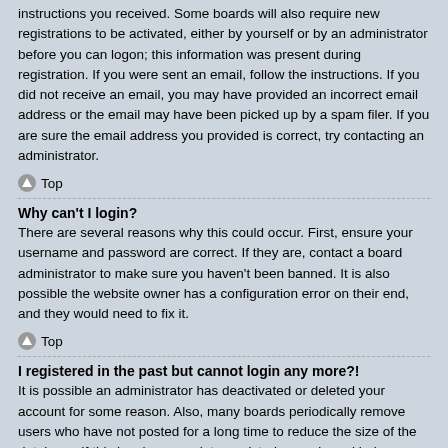instructions you received. Some boards will also require new registrations to be activated, either by yourself or by an administrator before you can logon; this information was present during registration. If you were sent an email, follow the instructions. If you did not receive an email, you may have provided an incorrect email address or the email may have been picked up by a spam filer. If you are sure the email address you provided is correct, try contacting an administrator.
Top
Why can't I login?
There are several reasons why this could occur. First, ensure your username and password are correct. If they are, contact a board administrator to make sure you haven't been banned. It is also possible the website owner has a configuration error on their end, and they would need to fix it.
Top
I registered in the past but cannot login any more?!
It is possible an administrator has deactivated or deleted your account for some reason. Also, many boards periodically remove users who have not posted for a long time to reduce the size of the database. If this has happened, try registering again and being more involved in discussions.
Top
I've lost my password!